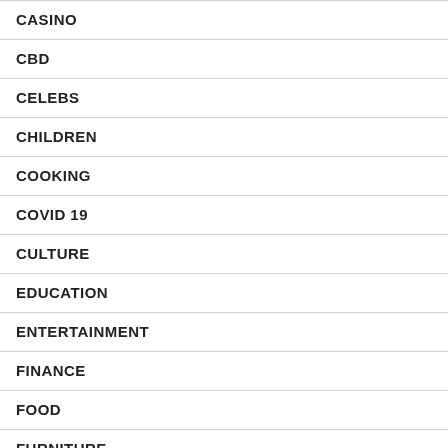CASINO
CBD
CELEBS
CHILDREN
COOKING
COVID 19
CULTURE
EDUCATION
ENTERTAINMENT
FINANCE
FOOD
FURNITURE